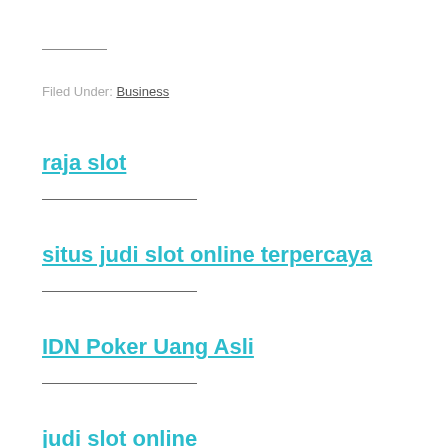Filed Under: Business
raja slot
situs judi slot online terpercaya
IDN Poker Uang Asli
judi slot online